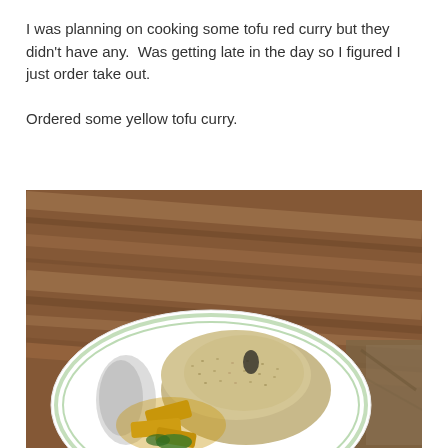I was planning on cooking some tofu red curry but they didn't have any.  Was getting late in the day so I figured I just order take out.

Ordered some yellow tofu curry.
[Figure (photo): A plate of yellow tofu curry with rice on a wooden table. The plate has a decorative pattern and contains brown rice and golden-yellow tofu curry pieces with vegetables.]